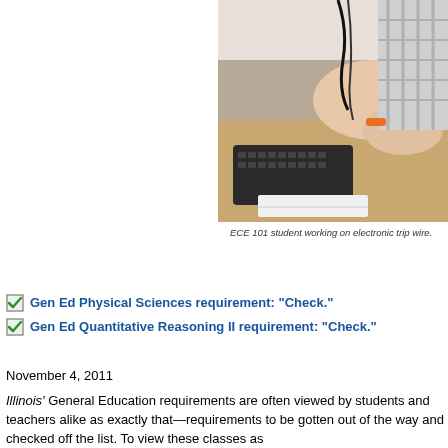[Figure (photo): A student working with electronic wires, with a keyboard and binder visible on the desk — ECE 101 electronic trip wire project.]
ECE 101 student working on electronic trip wire.
Gen Ed Physical Sciences requirement: "Check."
Gen Ed Quantitative Reasoning II requirement: "Check."
November 4, 2011
Illinois' General Education requirements are often viewed by students and teachers alike as exactly that—requirements to be gotten out of the way and checked off the list. To view these classes as